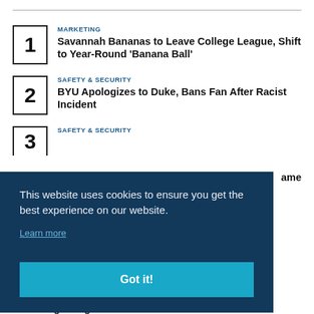MARKETING
Savannah Bananas to Leave College League, Shift to Year-Round 'Banana Ball'
SAFETY & SECURITY
BYU Apologizes to Duke, Bans Fan After Racist Incident
SAFETY & SECURITY
[partial — title cut off] ...ame
This website uses cookies to ensure you get the best experience on our website.
Learn more
Got it!
Following Resignation